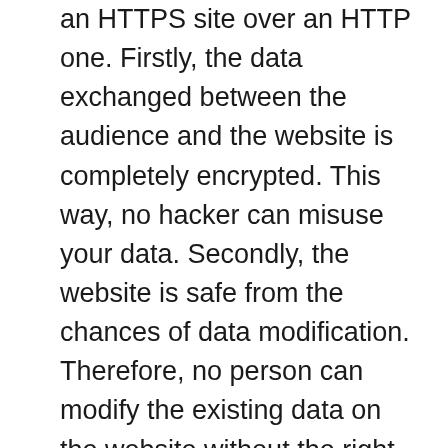an HTTPS site over an HTTP one. Firstly, the data exchanged between the audience and the website is completely encrypted. This way, no hacker can misuse your data. Secondly, the website is safe from the chances of data modification. Therefore, no person can modify the existing data on the website without the right set of permissions from the developer. Thirdly, authentication helps the website recognize each individual as differently without stealing any personal information.
Removing the Additional Layer of Confirmation
If you are using Google Chrome, you will often come across websites with an additional layer